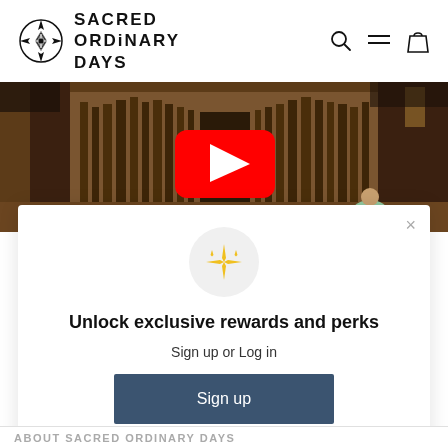[Figure (logo): Sacred Ordinary Days logo with compass rose icon and text SACRED ORDINARY DAYS, plus navigation icons (search, menu, bag)]
[Figure (photo): Photo of a church organ and interior, with a YouTube play button overlay in red]
Unlock exclusive rewards and perks
Sign up or Log in
Sign up
Already have an account? Sign in
ABOUT SACRED ORDINARY DAYS